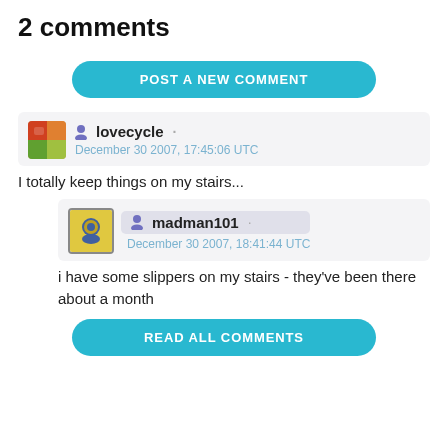2 comments
POST A NEW COMMENT
lovecycle · December 30 2007, 17:45:06 UTC
I totally keep things on my stairs...
madman101 · December 30 2007, 18:41:44 UTC
i have some slippers on my stairs - they've been there about a month
READ ALL COMMENTS